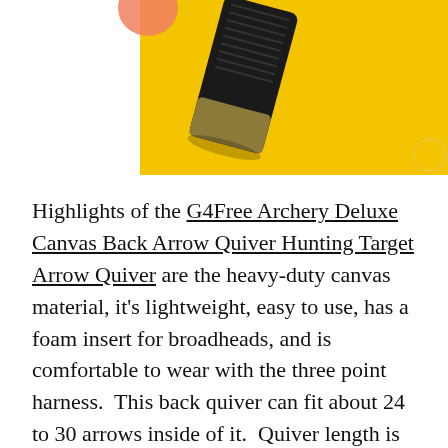[Figure (photo): A black canvas arrow quiver photographed against a yellow background, shown from an angled top-down perspective.]
Highlights of the G4Free Archery Deluxe Canvas Back Arrow Quiver Hunting Target Arrow Quiver are the heavy-duty canvas material, it's lightweight, easy to use, has a foam insert for broadheads, and is comfortable to wear with the three point harness.  This back quiver can fit about 24 to 30 arrows inside of it.  Quiver length is 21.7 inches, and will accommodate most arrow sizes which makes it best arrow quiver for hunting.  This states that this is for right